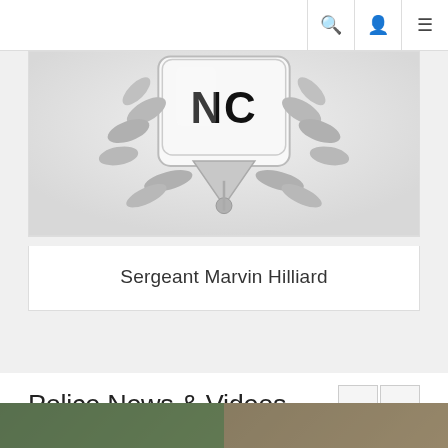Navigation bar with search, profile, and menu icons
[Figure (photo): NC police badge photo, silver metallic badge with 'NC' text and laurel wreath design, cropped to show lower portion]
Sergeant Marvin Hilliard
Police News & Videos
[Figure (photo): Bottom image strip showing two partial photos side by side]